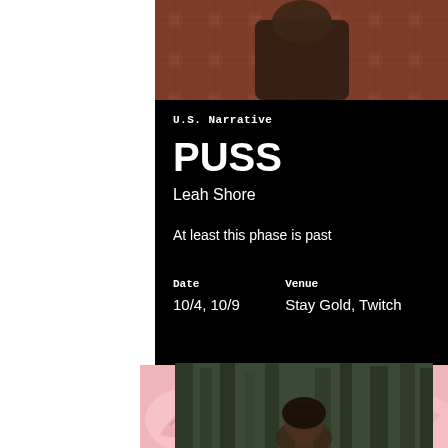[Figure (photo): Top portion of a film still showing a person against a patterned background]
U.S. Narrative
PUSS
Leah Shore
At least this phase is past
| Date | Venue |
| --- | --- |
| 10/4, 10/9 | Stay Gold, Twitch |
[Figure (photo): Bottom film still showing a person with short hair in a forested outdoor setting]